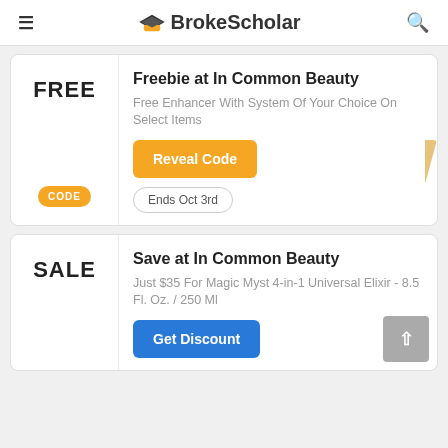BrokeScholar
FREE
Freebie at In Common Beauty
Free Enhancer With System Of Your Choice On Select Items
Reveal Code
CODE
Ends Oct 3rd
SALE
Save at In Common Beauty
Just $35 For Magic Myst 4-in-1 Universal Elixir - 8.5 Fl. Oz. / 250 Ml
Get Discount